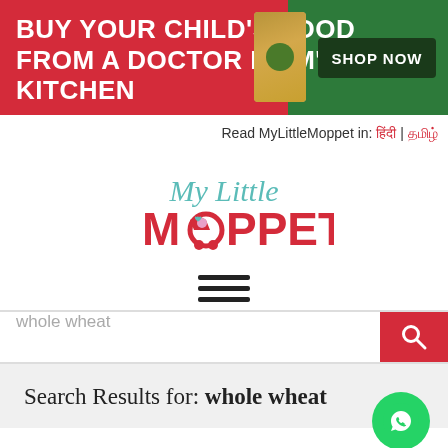[Figure (infographic): Advertisement banner: red background on left with white bold text 'BUY YOUR CHILD'S FOOD FROM A DOCTOR MOM'S KITCHEN', product image in center, green section on right with dark button 'SHOP NOW']
Read MyLittleMoppet in: हिंदी | தமிழ்
[Figure (logo): My Little Moppet logo with script 'My Little' in teal/aqua and bold pink/red 'MOPPET' with stroller icon replacing the O]
[Figure (other): Hamburger menu icon - three horizontal dark lines]
whole wheat
Search Results for: whole wheat
Can I give my Baby Oats?